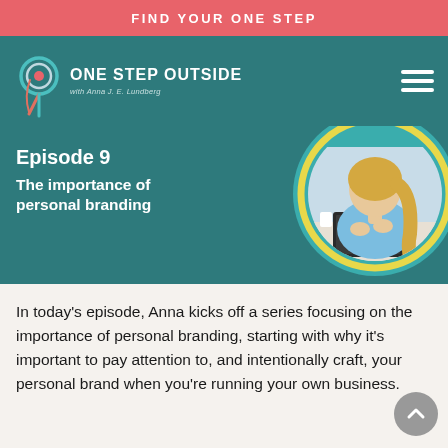FIND YOUR ONE STEP
[Figure (logo): One Step Outside logo with pin/spiral icon and text 'ONE STEP OUTSIDE with Anna J. E. Lundberg']
Episode 9
The importance of personal branding
[Figure (photo): Circular cropped photo of a woman with blonde hair working at a desk with a tablet/laptop, on teal background with yellow ring accent]
In today's episode, Anna kicks off a series focusing on the importance of personal branding, starting with why it's important to pay attention to, and intentionally craft, your personal brand when you're running your own business.